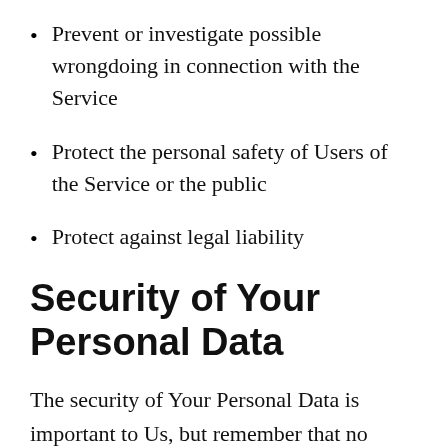Prevent or investigate possible wrongdoing in connection with the Service
Protect the personal safety of Users of the Service or the public
Protect against legal liability
Security of Your Personal Data
The security of Your Personal Data is important to Us, but remember that no method of transmission over the Internet, or